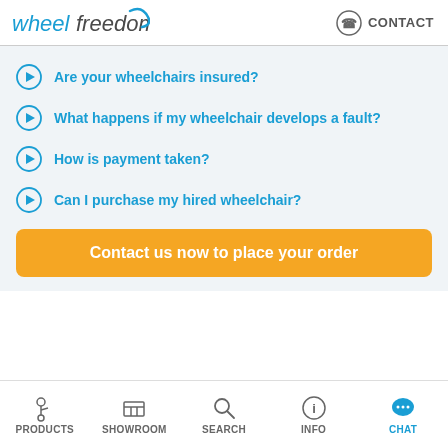wheelfreedom  CONTACT
Are your wheelchairs insured?
What happens if my wheelchair develops a fault?
How is payment taken?
Can I purchase my hired wheelchair?
Contact us now to place your order
PRODUCTS  SHOWROOM  SEARCH  INFO  CHAT